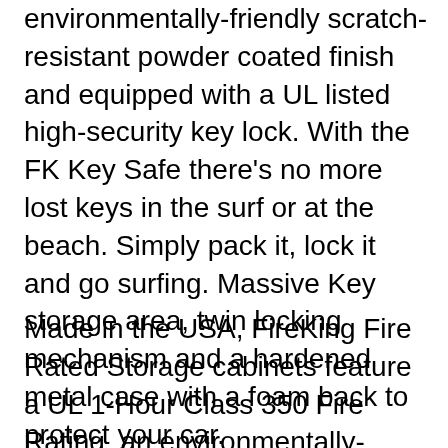environmentally-friendly scratch-resistant powder coated finish and equipped with a UL listed high-security key lock. With the FK Key Safe there's no more lost keys in the surf or at the beach. Simply pack it, lock it and go surfing. Massive Key storage area, twin locking mechanism and a hardened metal case with a foam back to protect your car.
Made in the USA, FireKing Fire Rated Storage cabinets feature a UL 1-Hour Class 350 Fire Rating, an environmentally-friendly scratch-resistant powder coated finish and equipped with a UL listed high-security key lock. KEY SAFE KSS122 Operating